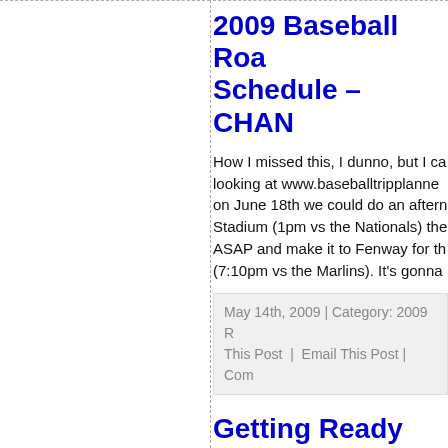2009 Baseball Road Trip Schedule – CHAN...
How I missed this, I dunno, but I ca... looking at www.baseballtripplanner... on June 18th we could do an aftern... Stadium (1pm vs the Nationals) the... ASAP and make it to Fenway for th... (7:10pm vs the Marlins). It's gonna...
May 14th, 2009 | Category: 2009 R... This Post | Email This Post | Com...
Getting Ready For Weekend!!
This coming weekend, Friday, Satu... will be attending the Red Sox vs M... Safeco Field in Seattle. As of now t... matchups are as follows: Friday, M... Jakubauskas Saturday, May 16th...